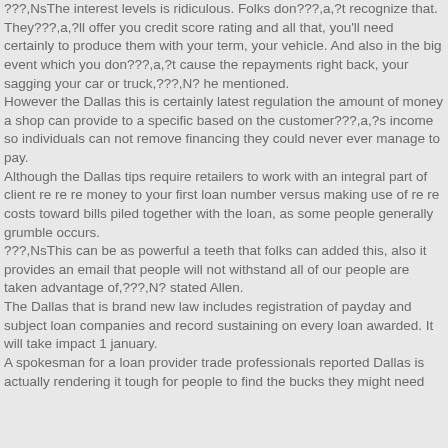???,NsThe interest levels is ridiculous. Folks don???,a,?t recognize that. They???,a,?ll offer you credit score rating and all that, you'll need certainly to produce them with your term, your vehicle. And also in the big event which you don???,a,?t cause the repayments right back, your sagging your car or truck,???,N? he mentioned. However the Dallas this is certainly latest regulation the amount of money a shop can provide to a specific based on the customer???,a,?s income so individuals can not remove financing they could never ever manage to pay. Although the Dallas tips require retailers to work with an integral part of client re re re money to your first loan number versus making use of re re costs toward bills piled together with the loan, as some people generally grumble occurs. ???,NsThis can be as powerful a teeth that folks can added this, also it provides an email that people will not withstand all of our people are taken advantage of,???,N? stated Allen. The Dallas that is brand new law includes registration of payday and subject loan companies and record sustaining on every loan awarded. It will take impact 1 january. A spokesman for a loan provider trade professionals reported Dallas is actually rendering it tough for people to find the bucks they might need